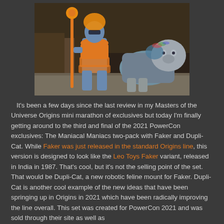[Figure (photo): Two action figures: a blue-skinned humanoid character in orange costume holding an orange staff (Faker) and a robotic/mechanical blue lion figure (Dupli-Cat) with silver head, set against a dark background.]
It's been a few days since the last review in my Masters of the Universe Origins mini marathon of exclusives but today I'm finally getting around to the third and final of the 2021 PowerCon exclusives: The Maniacal Maniacs two-pack with Faker and Dupli-Cat. While Faker was just released in the standard Origins line, this version is designed to look like the Leo Toys Faker variant, released in India in 1987. That's cool, but it's not the selling point of the set. That would be Dupli-Cat, a new robotic feline mount for Faker. Dupli-Cat is another cool example of the new ideas that have been springing up in Origins in 2021 which have been radically improving the line overall. This set was created for PowerCon 2021 and was sold through their site as well as